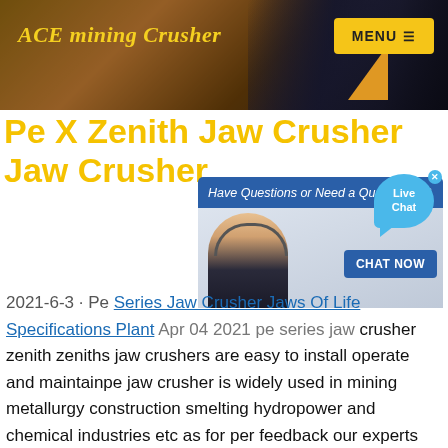ACE mining Crusher
[Figure (screenshot): Website header banner with mining equipment imagery, ACE mining Crusher logo in yellow italic text on left, yellow MENU button with hamburger icon on right, dark background with earth-tone mining equipment photo]
Pe X Zenith Jaw Crusher Jaw Crusher
[Figure (screenshot): Chat popup overlay with dark blue header reading 'Have Questions or Need a Quote?' with X close button, customer service agent photo (woman with headset), and CHAT NOW blue button]
[Figure (screenshot): Live Chat speech bubble icon in light blue on the right side]
2021-6-3 · Pe Series Jaw Crusher Jaws Of Life Specifications Plant Apr 04 2021 pe series jaw crusher zenith zeniths jaw crushers are easy to install operate and maintainpe jaw crusher is widely used in mining metallurgy construction smelting hydropower and chemical industries etc as for per feedback our experts will take it into consideration and make continuous improvements on our products to meet …